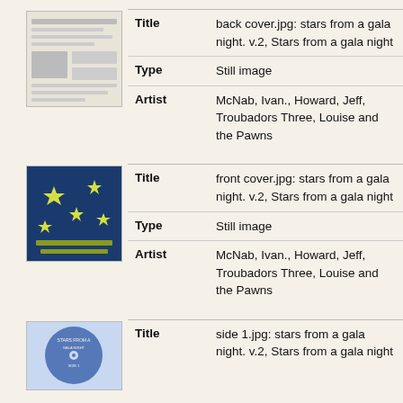[Figure (photo): Thumbnail of back cover of record album - appears to show text/liner notes in grayscale]
| Title | back cover.jpg: stars from a gala night. v.2, Stars from a gala night |
| Type | Still image |
| Artist | McNab, Ivan., Howard, Jeff, Troubadors Three, Louise and the Pawns |
[Figure (photo): Thumbnail of front cover of record album - yellow stars on dark blue background with text]
| Title | front cover.jpg: stars from a gala night. v.2, Stars from a gala night |
| Type | Still image |
| Artist | McNab, Ivan., Howard, Jeff, Troubadors Three, Louise and the Pawns |
[Figure (photo): Thumbnail of side 1 of vinyl record - blue label]
| Title | side 1.jpg: stars from a gala night. v.2, Stars from a gala night |